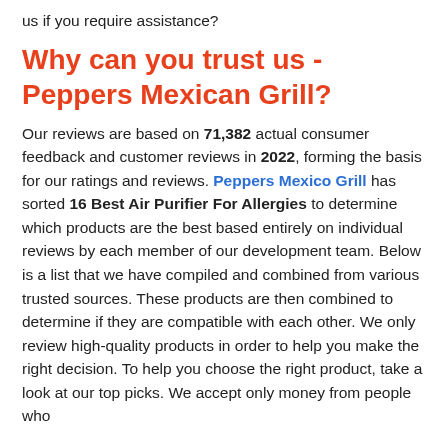us if you require assistance?
Why can you trust us - Peppers Mexican Grill?
Our reviews are based on 71,382 actual consumer feedback and customer reviews in 2022, forming the basis for our ratings and reviews. Peppers Mexico Grill has sorted 16 Best Air Purifier For Allergies to determine which products are the best based entirely on individual reviews by each member of our development team. Below is a list that we have compiled and combined from various trusted sources. These products are then combined to determine if they are compatible with each other. We only review high-quality products in order to help you make the right decision. To help you choose the right product, take a look at our top picks. We accept only money from people who